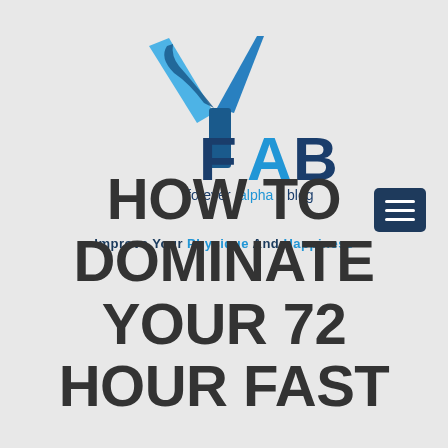[Figure (logo): Forever Alpha Blog logo: large stylized 'Y' shape in blue/navy with a checkmark-like wing design, text 'FAB' in dark blue large letters, 'forever alpha blog' below in mixed navy and cyan, tagline 'Improve Your Physique And Happiness' in bold navy/blue]
[Figure (other): Hamburger menu icon button: dark navy rectangle with three horizontal white lines]
HOW TO DOMINATE YOUR 72 HOUR FAST